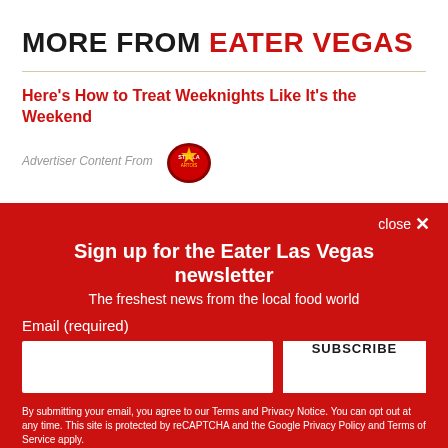MORE FROM EATER VEGAS
Here's How to Treat Weeknights Like It's the Weekend
Advertiser Content From [Stella Artois logo]
close ×
Sign up for the Eater Las Vegas newsletter
The freshest news from the local food world
Email (required)
SUBSCRIBE
By submitting your email, you agree to our Terms and Privacy Notice. You can opt out at any time. This site is protected by reCAPTCHA and the Google Privacy Policy and Terms of Service apply.